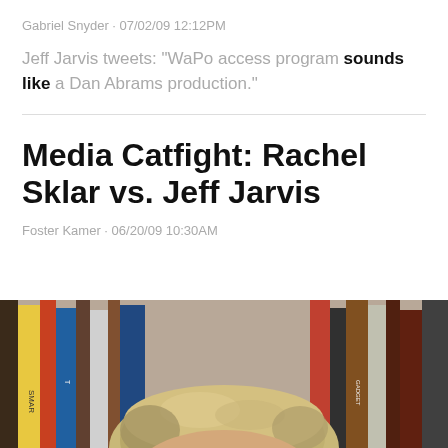Gabriel Snyder · 07/02/09 12:12PM
Jeff Jarvis tweets: "WaPo access program sounds like a Dan Abrams production."
Media Catfight: Rachel Sklar vs. Jeff Jarvis
Foster Kamer · 06/20/09 10:30AM
[Figure (photo): Top of a person's head with blonde/light brown hair, in front of a bookshelf background]